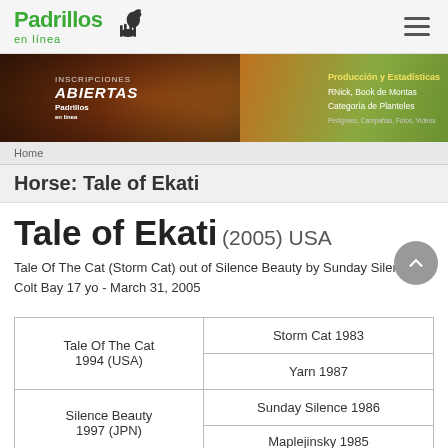Padrillos en línea
[Figure (photo): Banner advertisement for Padrillos en línea showing a closeup of a horse's eye with text 'Inscripciones Abiertas' and 'Producción y Estadísticas, RNick, Book de Montas, Categoría de Planteles']
Horse: Tale of Ekati
Tale of Ekati (2005) USA
Tale Of The Cat (Storm Cat) out of Silence Beauty by Sunday Silence
Colt Bay 17 yo - March 31, 2005
| Sire/Dam | Ancestors |
| --- | --- |
| Tale Of The Cat
1994 (USA) | Storm Cat 1983 |
| Tale Of The Cat
1994 (USA) | Yarn 1987 |
| Silence Beauty
1997 (JPN) | Sunday Silence 1986 |
| Silence Beauty
1997 (JPN) | Maplejinsky 1985 |